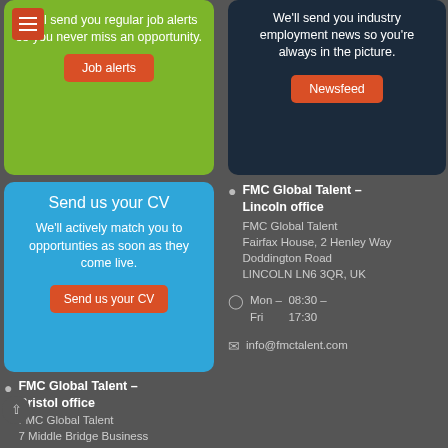We'll send you regular job alerts so you never miss an opportunity.
Job alerts
We'll send you industry employment news so you're always in the picture.
Newsfeed
Send us your CV
We'll actively match you to opportunties as soon as they come live.
Send us your CV
FMC Global Talent – Lincoln office
FMC Global Talent
Fairfax House, 2 Henley Way
Doddington Road
LINCOLN LN6 3QR, UK
Mon – Fri	08:30 – 17:30
info@fmctalent.com
FMC Global Talent – Bristol office
FMC Global Talent
7 Middle Bridge Business